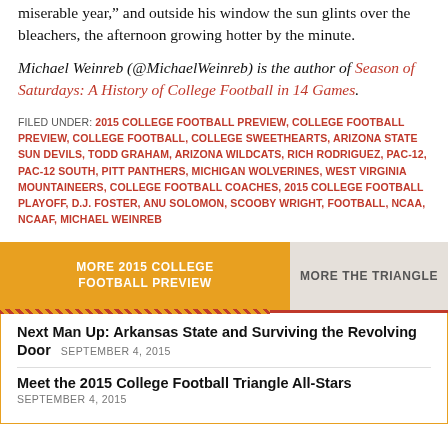miserable year," and outside his window the sun glints over the bleachers, the afternoon growing hotter by the minute.
Michael Weinreb (@MichaelWeinreb) is the author of Season of Saturdays: A History of College Football in 14 Games.
FILED UNDER: 2015 COLLEGE FOOTBALL PREVIEW, COLLEGE FOOTBALL PREVIEW, COLLEGE FOOTBALL, COLLEGE SWEETHEARTS, ARIZONA STATE SUN DEVILS, TODD GRAHAM, ARIZONA WILDCATS, RICH RODRIGUEZ, PAC-12, PAC-12 SOUTH, PITT PANTHERS, MICHIGAN WOLVERINES, WEST VIRGINIA MOUNTAINEERS, COLLEGE FOOTBALL COACHES, 2015 COLLEGE FOOTBALL PLAYOFF, D.J. FOSTER, ANU SOLOMON, SCOOBY WRIGHT, FOOTBALL, NCAA, NCAAF, MICHAEL WEINREB
MORE 2015 COLLEGE FOOTBALL PREVIEW
MORE THE TRIANGLE
Next Man Up: Arkansas State and Surviving the Revolving Door SEPTEMBER 4, 2015
Meet the 2015 College Football Triangle All-Stars SEPTEMBER 4, 2015